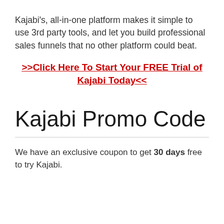Kajabi's, all-in-one platform makes it simple to use 3rd party tools, and let you build professional sales funnels that no other platform could beat.
>>Click Here To Start Your FREE Trial of Kajabi Today<<
Kajabi Promo Code
We have an exclusive coupon to get 30 days free to try Kajabi.